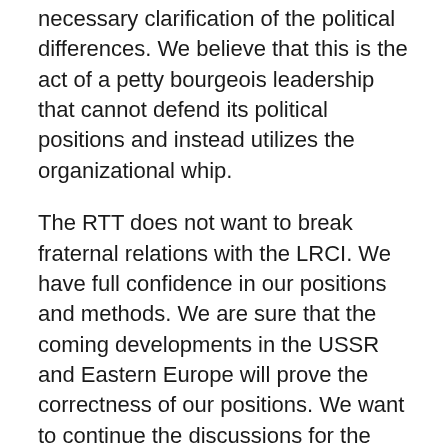necessary clarification of the political differences. We believe that this is the act of a petty bourgeois leadership that cannot defend its political positions and instead utilizes the organizational whip.
The RTT does not want to break fraternal relations with the LRCI. We have full confidence in our positions and methods. We are sure that the coming developments in the USSR and Eastern Europe will prove the correctness of our positions. We want to continue the discussions for the next six months, as was proposed by the IS, with the objective of narrowing the differences down to the point that the RTT could join the LRCI. But the IS has given us an ultimatum. From the letter it is clear that the IS does not want to continue the democratic discussions in the best tradition of the workers' movement; that it sees them as a threat, because it cannot defend its centrist positions